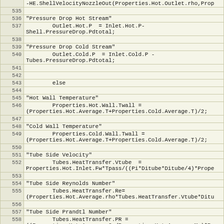Code listing lines 535-560, showing heat exchanger simulation code including pressure drop calculations, wall temperature, tube side velocity, Reynolds number, Prandtl number computations
| Line | Code |
| --- | --- |
|  | -HE.ShellVelocityNozzleOut(Properties.Hot.Outlet.rho,Prop... |
| 535 |  |
| 536 | "Pressure Drop Hot Stream" |
| 537 |         Outlet.Hot.P  = Inlet.Hot.P-
Shell.PressureDrop.Pdtotal; |
| 538 |  |
| 539 | "Pressure Drop Cold Stream" |
| 540 |         Outlet.Cold.P  = Inlet.Cold.P -
Tubes.PressureDrop.Pdtotal; |
| 541 |  |
| 542 |  |
| 543 |         else |
| 544 |  |
| 545 | "Hot Wall Temperature" |
| 546 |         Properties.Hot.Wall.Twall =
(Properties.Hot.Average.T+Properties.Cold.Average.T)/2; |
| 547 |  |
| 548 | "Cold Wall Temperature" |
| 549 |         Properties.Cold.Wall.Twall =
(Properties.Hot.Average.T+Properties.Cold.Average.T)/2; |
| 550 |  |
| 551 | "Tube Side Velocity" |
| 552 |         Tubes.HeatTransfer.Vtube  =
Properties.Hot.Inlet.Fw*Tpass/((Pi*Ditube*Ditube/4)*Prope... |
| 553 |  |
| 554 | "Tube Side Reynolds Number" |
| 555 |         Tubes.HeatTransfer.Re=
(Properties.Hot.Average.rho*Tubes.HeatTransfer.Vtube*Ditu... |
| 556 |  |
| 557 | "Tube Side Prandtl Number" |
| 558 |         Tubes.HeatTransfer.PR =
((Properties.Hot.Average.Cp/Properties.Hot.Average.Mw)*Pr... |
| 559 |  |
| 560 | "Tube Side Prandtl Number at Wall" |